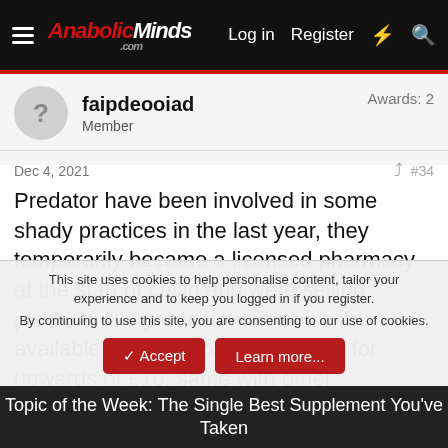AnabolicMinds.com — Log in | Register
faipdeooiad
Member
Awards: 2
Dec 4, 2021  #34
Predator have been involved in some shady practices in the last year, they temporarily became a licensed pharmacy at the start of covid and were selling products like paracetamol, which are available in shops for less than £1 for upwards of £10, same with other 'essentials' that people
This site uses cookies to help personalise content, tailor your experience and to keep you logged in if you register.
By continuing to use this site, you are consenting to our use of cookies.
Topic of the Week: The Single Best Supplement You've Taken